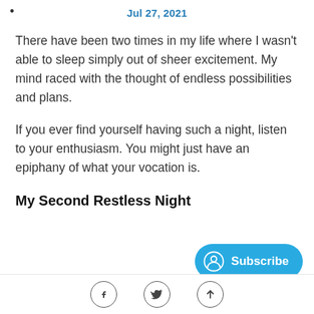Jul 27, 2021
There have been two times in my life where I wasn’t able to sleep simply out of sheer excitement. My mind raced with the thought of endless possibilities and plans.
If you ever find yourself having such a night, listen to your enthusiasm. You might just have an epiphany of what your vocation is.
My Second Restless Night
[Figure (infographic): Subscribe button (blue rounded rectangle with person icon and text Subscribe), social media icons (Facebook, Twitter, share/up-arrow) in bottom bar]